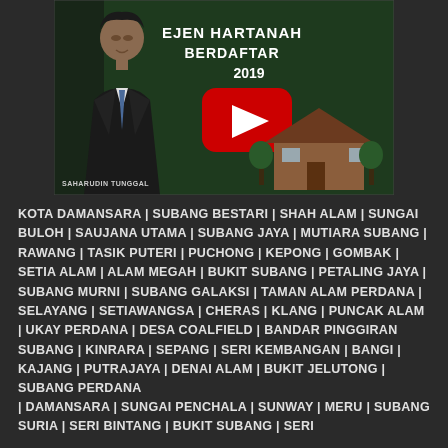[Figure (screenshot): YouTube video thumbnail featuring a man in a suit (SAHARUDIN TUNGGAL) with text 'EJEN HARTANAH BERDAFTAR' and a play button, with a house image in background on green/dark background]
KOTA DAMANSARA | SUBANG BESTARI | SHAH ALAM | SUNGAI BULOH | SAUJANA UTAMA | SUBANG JAYA | MUTIARA SUBANG | RAWANG | TASIK PUTERI | PUCHONG | KEPONG | GOMBAK | SETIA ALAM | ALAM MEGAH | BUKIT SUBANG | PETALING JAYA | SUBANG MURNI | SUBANG GALAKSI | TAMAN ALAM PERDANA | SELAYANG | SETIAWANGSA | CHERAS | KLANG | PUNCAK ALAM | UKAY PERDANA | DESA COALFIELD | BANDAR PINGGIRAN SUBANG | KINRARA | SEPANG | SERI KEMBANGAN | BANGI | KAJANG | PUTRAJAYA | DENAI ALAM | BUKIT JELUTONG | SUBANG PERDANA
| DAMANSARA | SUNGAI PENCHALA | SUNWAY | MERU | SUBANG SURIA | SERI BINTANG | BUKIT SUBANG | SERI